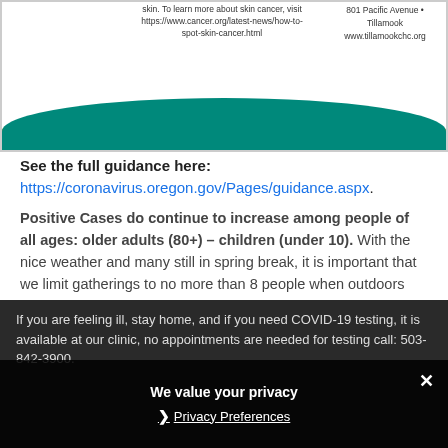[Figure (illustration): Banner with teal and orange wave decoration at bottom, center text about skin cancer with URL, right side shows address: 801 Pacific Avenue, Tillamook, www.tillamookchc.org]
See the full guidance here: https://coronavirus.oregon.gov/Pages/guidance.aspx.
Positive Cases do continue to increase among people of all ages: older adults (80+) – children (under 10). With the nice weather and many still in spring break, it is important that we limit gatherings to no more than 8 people when outdoors and 6 people indoors (no more than 2 households). Maintain 6ft of distance from those not in your household, wear a mask properly, and wash your hands frequently.
If you are feeling ill, stay home, and if you need COVID-19 testing, it is available at our clinic, no appointments are needed for testing call: 503-842-3900.
We value your privacy
Privacy Preferences